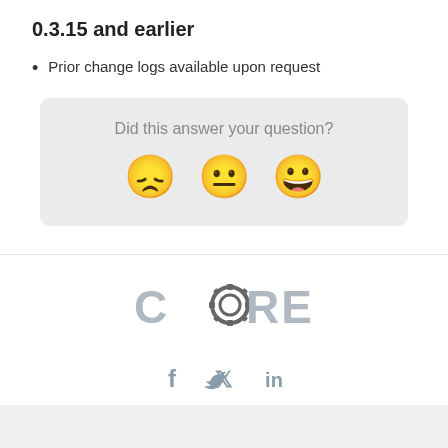0.3.15 and earlier
Prior change logs available upon request
Did this answer your question?
[Figure (illustration): Three emoji faces: disappointed/frowning, neutral, and smiling/happy]
[Figure (logo): CORE logo in gray]
[Figure (infographic): Social media icons: Facebook (f), Twitter (bird), LinkedIn (in)]